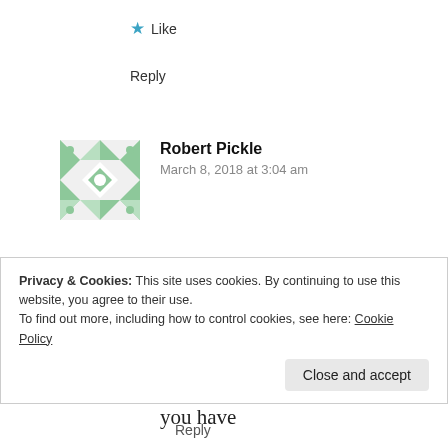★ Like
Reply
[Figure (illustration): Avatar image for Robert Pickle — a geometric green/white decorative pattern avatar]
Robert Pickle
March 8, 2018 at 3:04 am
In fact, you are a liar as well. and cannot fulfiull the Law, but through Jesus the Christ. But do tell me I am wrong, and that you have not breached what you have
Privacy & Cookies: This site uses cookies. By continuing to use this website, you agree to their use.
To find out more, including how to control cookies, see here: Cookie Policy
Close and accept
Reply